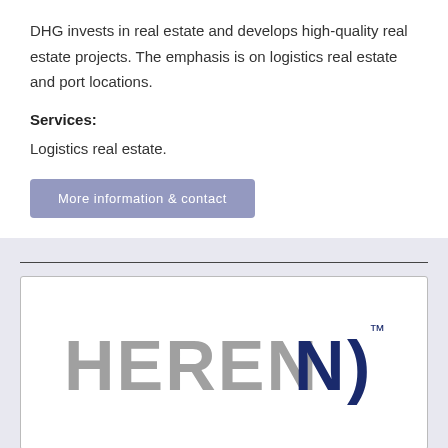DHG invests in real estate and develops high-quality real estate projects. The emphasis is on logistics real estate and port locations.
Services:
Logistics real estate.
More information & contact
[Figure (logo): HERENN logo with stylized N and TM mark in grey and dark navy blue colors]